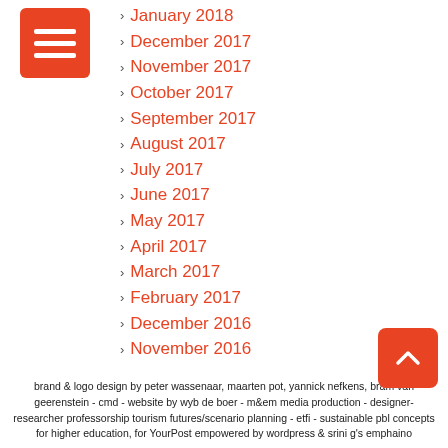[Figure (logo): Orange square icon with three white horizontal lines (hamburger menu icon)]
January 2018
December 2017
November 2017
October 2017
September 2017
August 2017
July 2017
June 2017
May 2017
April 2017
March 2017
February 2017
December 2016
November 2016
brand & logo design by peter wassenaar, maarten pot, yannick nefkens, bram van geerenstein - cmd - website by wyb de boer - m&em media production - designer-researcher professorship tourism futures/scenario planning - etfi - sustainable pbl concepts for higher education, for YourPost empowered by wordpress & srini g's emphaino